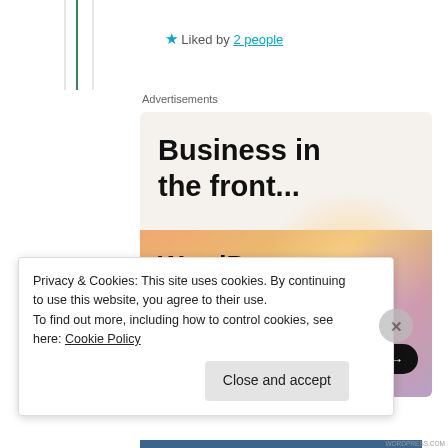★ Liked by 2 people
Advertisements
[Figure (illustration): WordPress VIP advertisement. Top half: light beige background with bold black text 'Business in the front...'. Bottom half: colorful gradient (orange, peach, lavender) background with bold black text 'WordPress in the back.' WordPress VIP logo and 'Learn more →' button at bottom.]
Privacy & Cookies: This site uses cookies. By continuing to use this website, you agree to their use. To find out more, including how to control cookies, see here: Cookie Policy
Close and accept